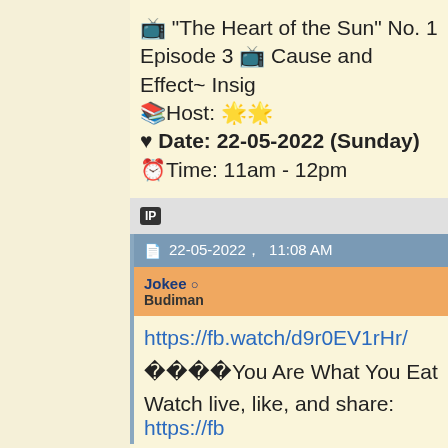📺 "The Heart of the Sun" No. 1 Episode 3 📺 Cause and Effect~ Insig
📚Host: 🌟🌟
♥ Date: 22-05-2022 (Sunday)
⏰Time: 11am - 12pm
IP
📄 22-05-2022，11:08 AM
Jokee ○
Budiman
https://fb.watch/d9r0EV1rHr/
🔷🔷🔷🔷You Are What You Eat
Watch live, like, and share: https://fb